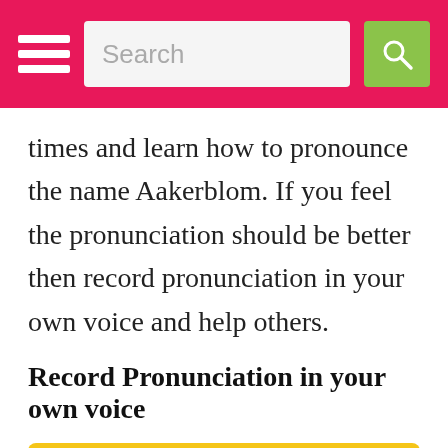Search
times and learn how to pronounce the name Aakerblom. If you feel the pronunciation should be better then record pronunciation in your own voice and help others.
Record Pronunciation in your own voice
🎤 Record Pronunciation